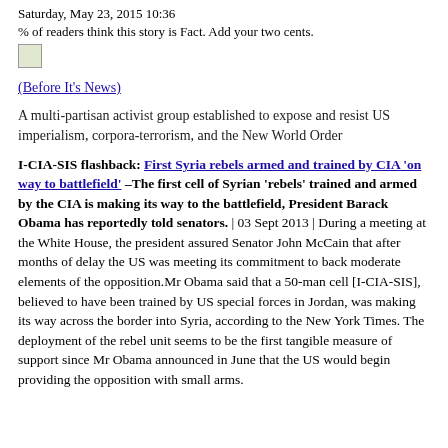Saturday, May 23, 2015 10:36
% of readers think this story is Fact. Add your two cents.
[Figure (illustration): Small image placeholder icon]
(Before It's News)
A multi-partisan activist group established to expose and resist US imperialism, corpora-terrorism, and the New World Order
I-CIA-SIS flashback: First Syria rebels armed and trained by CIA 'on way to battlefield' –The first cell of Syrian 'rebels' trained and armed by the CIA is making its way to the battlefield, President Barack Obama has reportedly told senators. | 03 Sept 2013 | During a meeting at the White House, the president assured Senator John McCain that after months of delay the US was meeting its commitment to back moderate elements of the opposition.Mr Obama said that a 50-man cell [I-CIA-SIS], believed to have been trained by US special forces in Jordan, was making its way across the border into Syria, according to the New York Times. The deployment of the rebel unit seems to be the first tangible measure of support since Mr Obama announced in June that the US would begin providing the opposition with small arms.